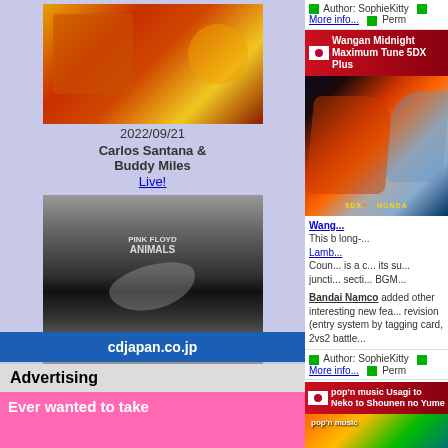[Figure (photo): Album cover with warm orange/red tones, appears to be Carlos Santana artwork]
2022/09/21
Carlos Santana & Buddy Miles
Live!
[Figure (photo): Pink Floyd Animals Remix album cover, black and white city skyline with floating pig]
2022/09/16
Pink Floyd
Animals (Remix)
See more
cdjapan.co.jp
Advertising
Ever wanted to take
Author: SophieKitty   More info...   Perm
Wangan Midnight Maximum Tune 5DX Plus
[Figure (photo): Wangan Midnight racing game screenshot showing orange Lamborghini and silver Honda sports cars]
Wangan... This b long-... Lamb... Coun... is a c... its su... juncti... secti... BGM...
Bandai Namco added other interesting new fea... revision (entry system by tagging card, 2vs2 battle...
Author: SophieKitty   More info...   Perm
pop'n music Usagi to Neko to Shounen no Yume
[Figure (photo): pop'n music game logo/artwork with colorful characters]